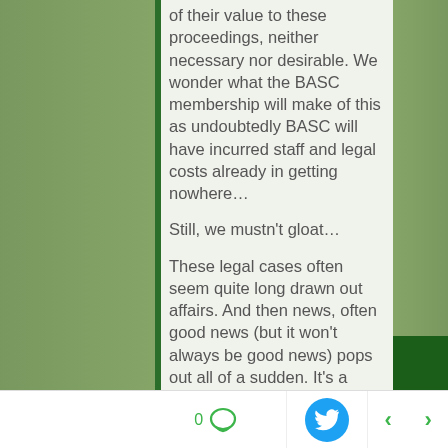of their value to these proceedings, neither necessary nor desirable. We wonder what the BASC membership will make of this as undoubtedly BASC will have incurred staff and legal costs already in getting nowhere…

Still, we mustn't gloat…

These legal cases often seem quite long drawn out affairs. And then news, often good news (but it won't always be good news) pops out all of a sudden. It's a good way to start the week…and we wanted you, our supporters to be the first to know.

That's all for now.

— Wild Justice (Directors: Mark